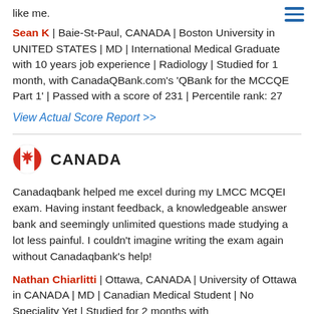like me.
Sean K | Baie-St-Paul, CANADA | Boston University in UNITED STATES | MD | International Medical Graduate with 10 years job experience | Radiology | Studied for 1 month, with CanadaQBank.com's 'QBank for the MCCQE Part 1' | Passed with a score of 231 | Percentile rank: 27
View Actual Score Report >>
[Figure (other): Canada flag emoji icon circle with maple leaf]
CANADA
Canadaqbank helped me excel during my LMCC MCQEI exam. Having instant feedback, a knowledgeable answer bank and seemingly unlimited questions made studying a lot less painful. I couldn't imagine writing the exam again without Canadaqbank's help!
Nathan Chiarlitti | Ottawa, CANADA | University of Ottawa in CANADA | MD | Canadian Medical Student | No Speciality Yet | Studied for 2 months with...